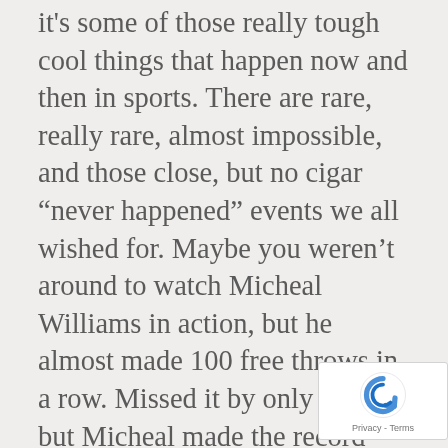it's some of those really tough cool things that happen now and then in sports. There are rare, really rare, almost impossible, and those close, but no cigar “never happened” events we all wished for. Maybe you weren’t around to watch Micheal Williams in action, but he almost made 100 free throws in a row. Missed it by only three, but Micheal made the record books for something that never happened. Ooooh, ahhh! So sorry, Micheal. There’s another Michael (different spelling) for a super rare feat that probably won’t be seen again any time soon.